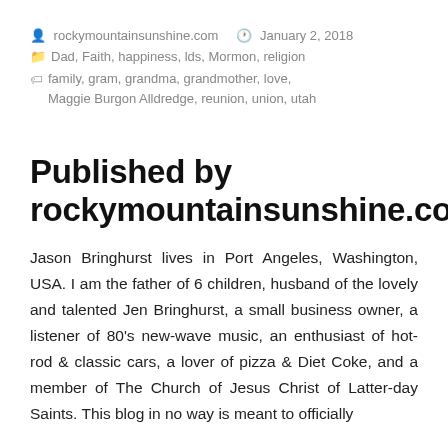rockymountainsunshine.com   January 2, 2018
Dad, Faith, happiness, lds, Mormon, religion
family, gram, grandma, grandmother, love, Maggie Burgon Alldredge, reunion, union, utah
Published by rockymountainsunshine.com
Jason Bringhurst lives in Port Angeles, Washington, USA. I am the father of 6 children, husband of the lovely and talented Jen Bringhurst, a small business owner, a listener of 80's new-wave music, an enthusiast of hot-rod & classic cars, a lover of pizza & Diet Coke, and a member of The Church of Jesus Christ of Latter-day Saints. This blog in no way is meant to officially